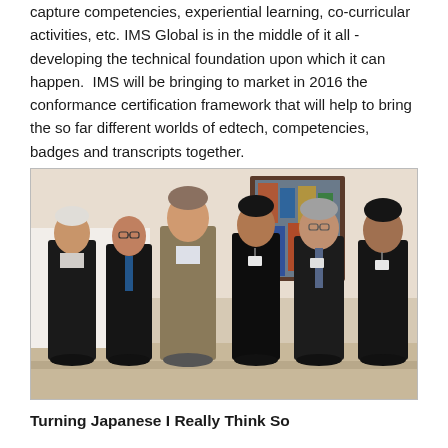capture competencies, experiential learning, co-curricular activities, etc. IMS Global is in the middle of it all - developing the technical foundation upon which it can happen.  IMS will be bringing to market in 2016 the conformance certification framework that will help to bring the so far different worlds of edtech, competencies, badges and transcripts together.
[Figure (photo): Six men standing in a row against a cream-colored wall with a colorful painting in the background. They appear to be at a professional meeting or conference.]
Turning Japanese I Really Think So